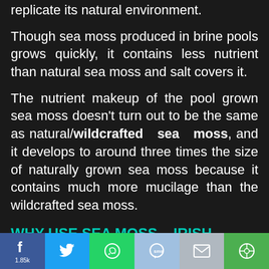replicate its natural environment.
Though sea moss produced in brine pools grows quickly, it contains less nutrient than natural sea moss and salt covers it.
The nutrient makeup of the pool grown sea moss doesn't turn out to be the same as natural/wildcrafted sea moss, and it develops to around three times the size of naturally grown sea moss because it contains much more mucilage than the wildcrafted sea moss.
WHY USE SEA MOSS – IRISH MOSS – CHONDRUS CRISPUS